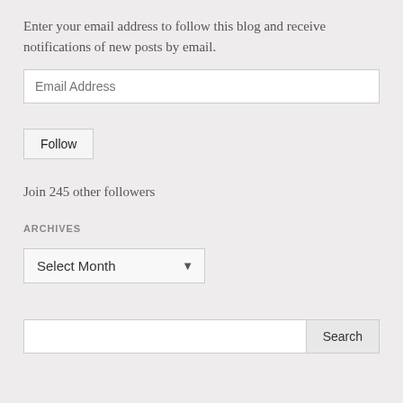Enter your email address to follow this blog and receive notifications of new posts by email.
Email Address
Follow
Join 245 other followers
ARCHIVES
Select Month
Search